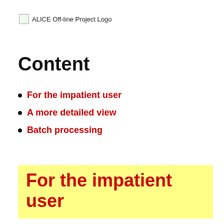[Figure (logo): ALICE Off-line Project Logo placeholder image with alt text]
Content
For the impatient user
A more detailed view
Batch processing
For the impatient user